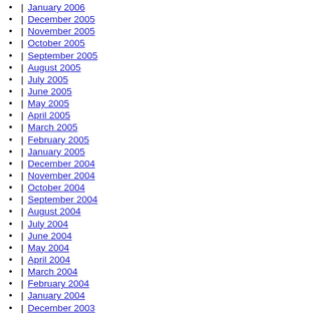January 2006
December 2005
November 2005
October 2005
September 2005
August 2005
July 2005
June 2005
May 2005
April 2005
March 2005
February 2005
January 2005
December 2004
November 2004
October 2004
September 2004
August 2004
July 2004
June 2004
May 2004
April 2004
March 2004
February 2004
January 2004
December 2003
November 2003
October 2003
September 2003
August 2003
July 2003